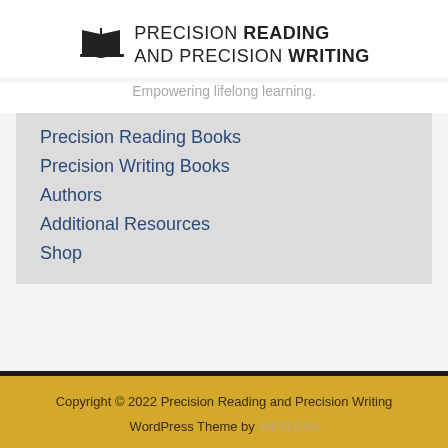[Figure (logo): Open book icon with text: PRECISION READING AND PRECISION WRITING]
Empowering lifelong learning.
Precision Reading Books
Precision Writing Books
Authors
Additional Resources
Shop
Copyright © 2022 Precision Reading and Precision Writing
WordPress Theme by WPZOOM